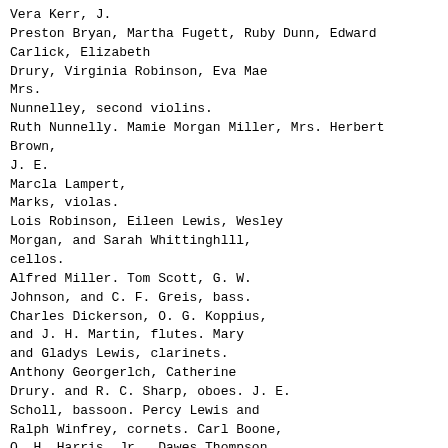Vera Kerr, J.
Preston Bryan, Martha Fugett, Ruby Dunn, Edward
Carlick, Elizabeth
Drury, Virginia Robinson, Eva Mae
Mrs.
Nunnelley, second violins.
Ruth Nunnelly. Mamie Morgan Miller, Mrs. Herbert Brown,
J. E.
Marcla Lampert,
Marks, violas.
Lois Robinson, Eileen Lewis, Wesley
Morgan, and Sarah Whittinghlll,
cellos.
Alfred Miller. Tom Scott, G. W.
Johnson, and C. F. Greis, bass.
Charles Dickerson, O. G. Koppius,
and J. H. Martin, flutes. Mary
and Gladys Lewis, clarinets.
Anthony Georgerlch, Catherine
Drury. and R. C. Sharp, oboes. J. E.
Scholl, bassoon. Percy Lewis and
Ralph Winfrey, cornets. Carl Boone,
O. H. Harris, Jr., Dawes Thompson,
and E. M. Stone, horns. Eleanor
Wllkerson, Bob Grlffitli, and FredHarriet
erick Moore, trombones.
Van Meter, percussion.
Lay-tha-

m